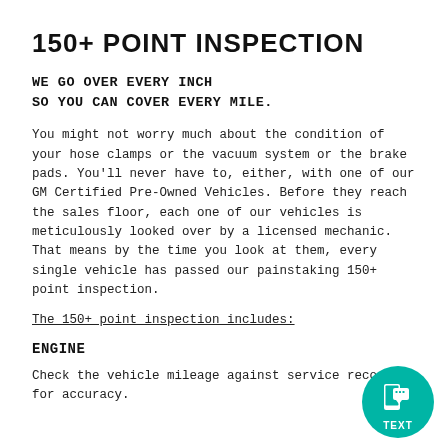150+ POINT INSPECTION
WE GO OVER EVERY INCH
SO YOU CAN COVER EVERY MILE.
You might not worry much about the condition of your hose clamps or the vacuum system or the brake pads. You'll never have to, either, with one of our GM Certified Pre-Owned Vehicles. Before they reach the sales floor, each one of our vehicles is meticulously looked over by a licensed mechanic. That means by the time you look at them, every single vehicle has passed our painstaking 150+ point inspection.
The 150+ point inspection includes:
ENGINE
Check the vehicle mileage against service records for accuracy.
[Figure (logo): Circular teal badge with a mobile phone and chat bubble icon, labeled TEXT at the bottom]